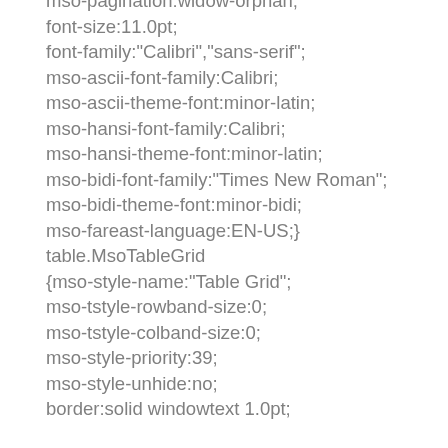mso-pagination:widow-orphan;
font-size:11.0pt;
font-family:"Calibri","sans-serif";
mso-ascii-font-family:Calibri;
mso-ascii-theme-font:minor-latin;
mso-hansi-font-family:Calibri;
mso-hansi-theme-font:minor-latin;
mso-bidi-font-family:"Times New Roman";
mso-bidi-theme-font:minor-bidi;
mso-fareast-language:EN-US;}
table.MsoTableGrid
{mso-style-name:"Table Grid";
mso-tstyle-rowband-size:0;
mso-tstyle-colband-size:0;
mso-style-priority:39;
mso-style-unhide:no;
border:solid windowtext 1.0pt;